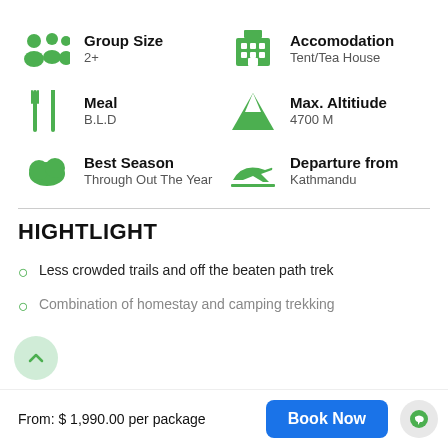Group Size
2+
Accomodation
Tent/Tea House
Meal
B.L.D
Max. Altitiude
4700 M
Best Season
Through Out The Year
Departure from
Kathmandu
HIGHTLIGHT
Less crowded trails and off the beaten path trek
Combination of homestay and camping trekking
From: $ 1,990.00 per package